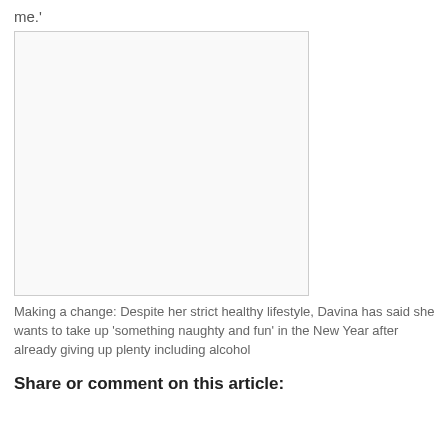me.'
[Figure (photo): Blank/white image placeholder with light border]
Making a change: Despite her strict healthy lifestyle, Davina has said she wants to take up 'something naughty and fun' in the New Year after already giving up plenty including alcohol
Share or comment on this article: